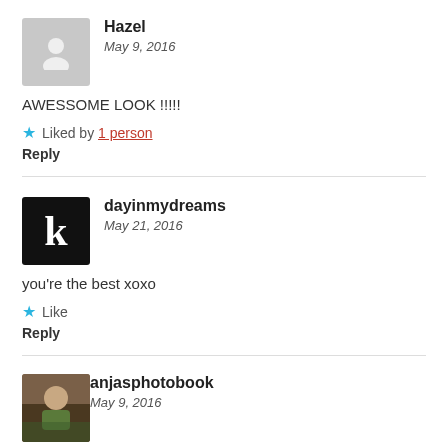Hazel
May 9, 2016
AWESSOME LOOK !!!!!
★ Liked by 1 person
Reply
dayinmydreams
May 21, 2016
you're the best xoxo
★ Like
Reply
anjasphotobook
May 9, 2016